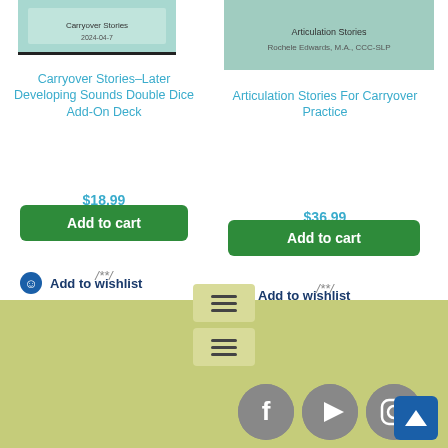[Figure (photo): Partial product image of Carryover Stories Later Developing Sounds Double Dice Add-On Deck (top portion cropped)]
Carryover Stories–Later Developing Sounds Double Dice Add-On Deck
$18.99
Add to cart
/**/
Add to wishlist
[Figure (photo): Partial product image of Articulation Stories For Carryover Practice (top portion cropped)]
Articulation Stories For Carryover Practice
$36.99
Add to cart
/**/
Add to wishlist
[Figure (infographic): Hamburger menu icon in a rounded box]
[Figure (infographic): Hamburger menu icon in a rounded box]
[Figure (infographic): Facebook, YouTube, Instagram social media icons as grey circles]
[Figure (infographic): Back to top arrow button, blue square]